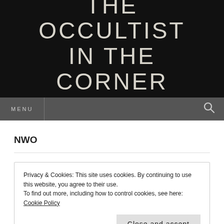THE OCCULTIST IN THE CORNER
a magickal reading experience
MENU
NWO
Privacy & Cookies: This site uses cookies. By continuing to use this website, you agree to their use.
To find out more, including how to control cookies, see here: Cookie Policy
Close and accept